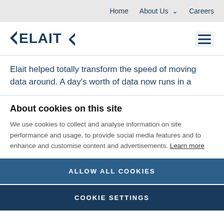Home  About Us  Careers
[Figure (logo): Elait logo — stylized text 'ELAIT' with blue angular arrow elements on either side]
Elait helped totally transform the speed of moving data around. A day's worth of data now runs in a
About cookies on this site
We use cookies to collect and analyse information on site performance and usage, to provide social media features and to enhance and customise content and advertisements. Learn more
ALLOW ALL COOKIES
COOKIE SETTINGS